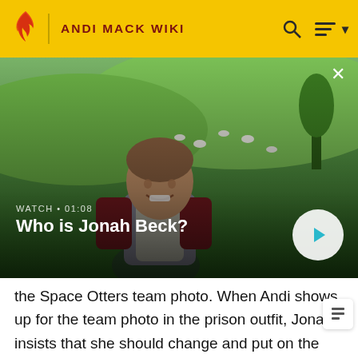ANDI MACK WIKI
[Figure (screenshot): Video thumbnail showing a young boy smiling outdoors on a green grassy hillside with sheep in the background. Overlay text reads 'WATCH • 01:08' and 'Who is Jonah Beck?' with a circular play button on the right.]
the Space Otters team photo. When Andi shows up for the team photo in the prison outfit, Jonah insists that she should change and put on the Space Otters jersey. Andi tells him how important the protest is but Jonah insists on how important Space Otters is for him. So, Andi makes